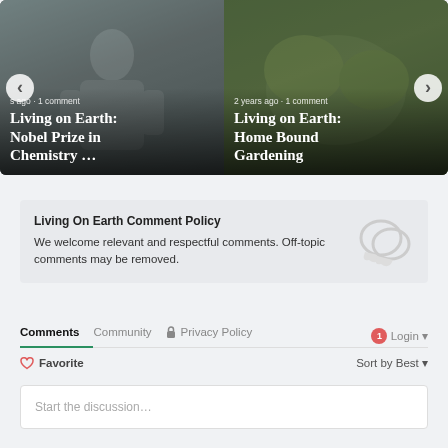[Figure (photo): Carousel card left: older man in lab coat in chemistry lab, title 'Living on Earth: Nobel Prize in Chemistry ...' with metadata 's ago • 1 comment']
[Figure (photo): Carousel card right: close-up of green plant/fruit, title 'Living on Earth: Home Bound Gardening' with metadata '2 years ago • 1 comment']
Living On Earth Comment Policy
We welcome relevant and respectful comments. Off-topic comments may be removed.
Comments  Community  Privacy Policy  1  Login  Favorite  Sort by Best  Start the discussion…